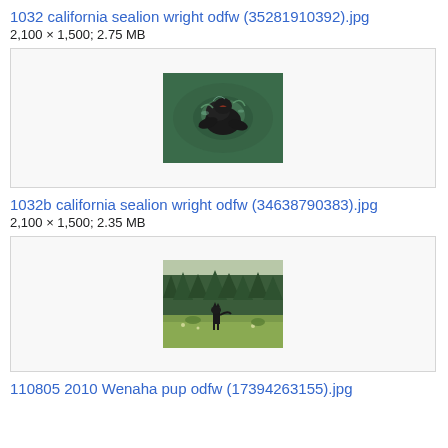1032 california sealion wright odfw (35281910392).jpg
2,100 × 1,500; 2.75 MB
[Figure (photo): California sea lion photographed from above in water, splashing, dark coloring, viewed from aerial perspective]
1032b california sealion wright odfw (34638790383).jpg
2,100 × 1,500; 2.35 MB
[Figure (photo): Dark-colored animal (wolf or similar) standing in a grassy meadow with coniferous trees in the background]
110805 2010 Wenaha pup odfw (17394263155).jpg